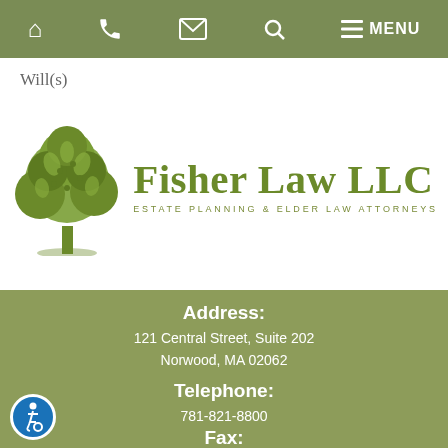Navigation bar with home, phone, email, search, and MENU icons
Will(s)
[Figure (logo): Fisher Law LLC logo with green tree icon and text: Fisher Law LLC, ESTATE PLANNING & ELDER LAW ATTORNEYS]
Address:
121 Central Street, Suite 202
Norwood, MA 02062
Telephone:
781-821-8800
Fax:
781-821-8805